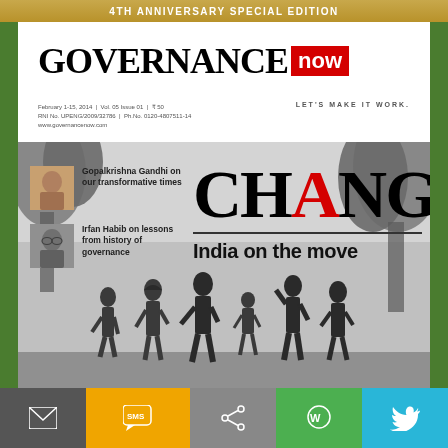4TH ANNIVERSARY SPECIAL EDITION
GOVERNANCE now LET'S MAKE IT WORK
February 1-15, 2014 | Vol. 05 Issue 01 | ₹ 50
RNI No. UPENG/2009/32786 | Ph.No. 0120-4807511-14
www.governancenow.com
Gopal Krishna Gandhi on our transformative times
Irfan Habib on lessons from history of governance
CHANGE India on the move
[Figure (photo): Magazine cover showing statues of people walking with trees in background, black and white photo]
Email | SMS | Share | WhatsApp | Twitter